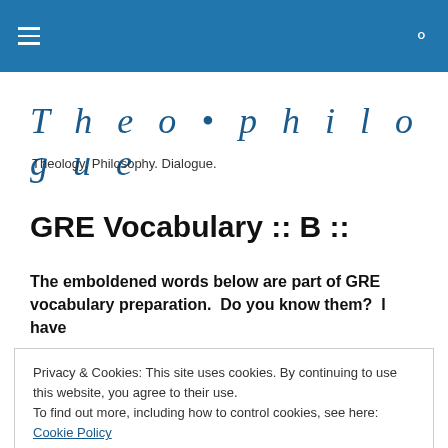Theo•philogue — navigation bar with hamburger menu and search icon
Theo•philogue
Theology. Philosophy. Dialogue.
GRE Vocabulary :: B ::
The emboldened words below are part of GRE vocabulary preparation.  Do you know them?  I have
Privacy & Cookies: This site uses cookies. By continuing to use this website, you agree to their use.
To find out more, including how to control cookies, see here: Cookie Policy
Close and accept